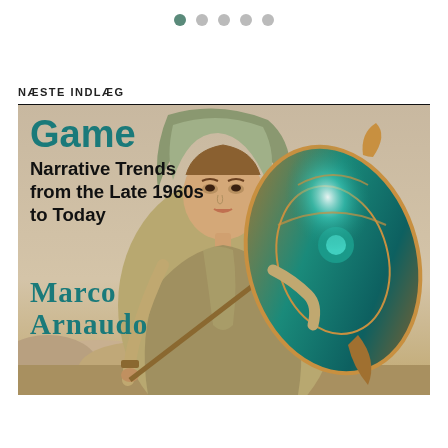● ○ ○ ○ ○
NÆSTE INDLÆG
[Figure (illustration): Book cover showing a fantasy warrior woman in a hooded cloak holding a spear and an ornate teal/gold shield, with rocky landscape in background. Text on cover reads: 'Game / Narrative Trends from the Late 1960s to Today / Marco Arnaudo']